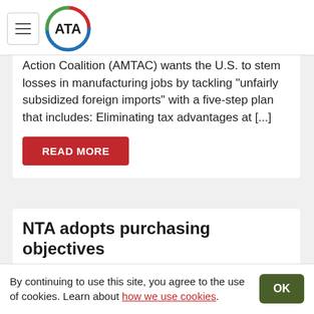ATA
Action Coalition (AMTAC) wants the U.S. to stem losses in manufacturing jobs by tackling “unfairly subsidized foreign imports” with a five-step plan that includes: Eliminating tax advantages at [...]
READ MORE
NTA adopts purchasing objectives
February 1st, 2009
A Government Textile Committee of the National
By continuing to use this site, you agree to the use of cookies. Learn about how we use cookies.